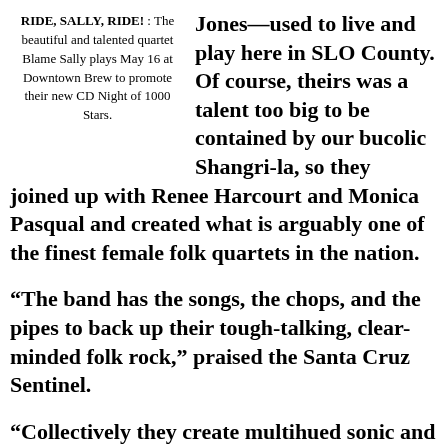RIDE, SALLY, RIDE! : The beautiful and talented quartet Blame Sally plays May 16 at Downtown Brew to promote their new CD Night of 1000 Stars.
Jones—used to live and play here in SLO County. Of course, theirs was a talent too big to be contained by our bucolic Shangri-la, so they joined up with Renee Harcourt and Monica Pasqual and created what is arguably one of the finest female folk quartets in the nation.
“The band has the songs, the chops, and the pipes to back up their tough-talking, clear-minded folk rock,” praised the Santa Cruz Sentinel.
“Collectively they create multihued sonic and emotional tapestries, recalling the artful romanticism of Jane Siberry, the rich folk